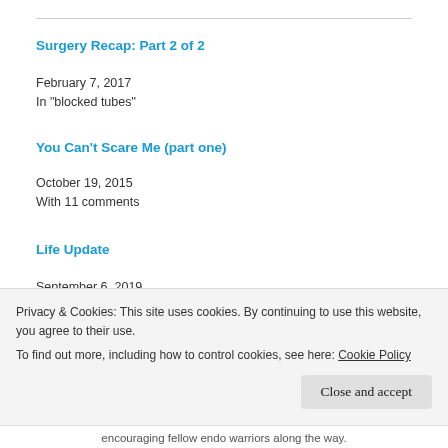Surgery Recap: Part 2 of 2
February 7, 2017
In "blocked tubes"
You Can't Scare Me (part one)
October 19, 2015
With 11 comments
Life Update
September 6, 2019
In "breast cysts"
Privacy & Cookies: This site uses cookies. By continuing to use this website, you agree to their use.
To find out more, including how to control cookies, see here: Cookie Policy
Close and accept
encouraging fellow endo warriors along the way.